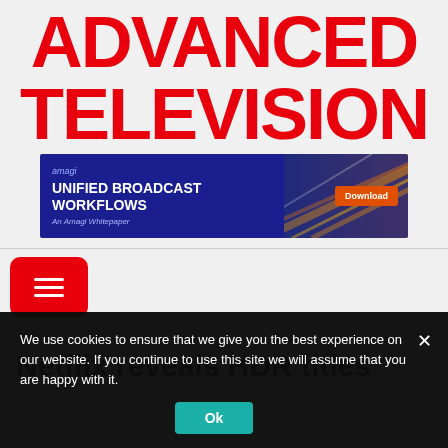ADVANCED TELEVISION
[Figure (other): Amagi advertisement banner — 'UNIFIED BROADCAST WORKFLOWS, an Amagi Whitepaper' with Download button on right side showing motion-blurred streaks of light]
[Figure (other): Red rounded-rectangle hamburger/menu button with three white horizontal bars]
Netflix reveals HDR titles
We use cookies to ensure that we give you the best experience on our website. If you continue to use this site we will assume that you are happy with it.